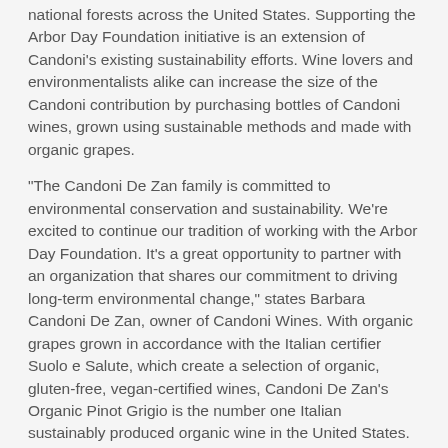national forests across the United States. Supporting the Arbor Day Foundation initiative is an extension of Candoni's existing sustainability efforts. Wine lovers and environmentalists alike can increase the size of the Candoni contribution by purchasing bottles of Candoni wines, grown using sustainable methods and made with organic grapes.
“The Candoni De Zan family is committed to environmental conservation and sustainability. We’re excited to continue our tradition of working with the Arbor Day Foundation. It’s a great opportunity to partner with an organization that shares our commitment to driving long-term environmental change,” states Barbara Candoni De Zan, owner of Candoni Wines. With organic grapes grown in accordance with the Italian certifier Suolo e Salute, which create a selection of organic, gluten-free, vegan-certified wines, Candoni De Zan’s Organic Pinot Grigio is the number one Italian sustainably produced organic wine in the United States.
About Candoni
The Candoni De Zan family is based out of the Veneto region of Italy. Specializing in traditional Italian wine made from organic grapes and sustainable practices, the company’s wine is proudly distributed throughout the United States. Experts in wines traditional to Italy, the Candoni De Zan family produces under the labels of Candoni, Carlotta, and Palazzo Tenuta. To